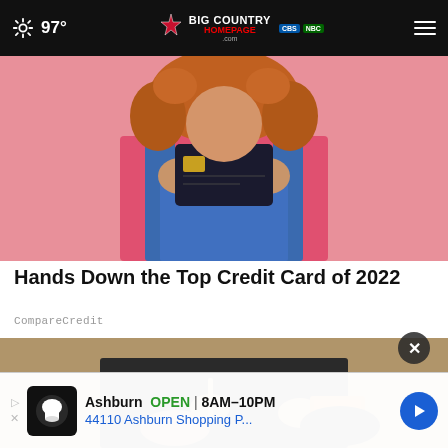97° | Big Country Homepage | Menu
[Figure (photo): Person with curly red hair holding a dark credit card up to their face, wearing a pink shirt and denim overalls, against a pink background]
Hands Down the Top Credit Card of 2022
CompareCredit
[Figure (photo): Person holding a small wooden stick/toothpick with an orange snack package in their other hand, wearing a dark jacket]
Ashburn  OPEN  8AM–10PM
44110 Ashburn Shopping P...